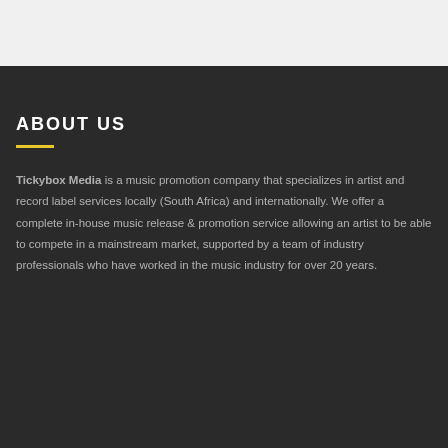ABOUT US
Tickybox Media is a music promotion company that specializes in artist and record label services locally (South Africa) and internationally. We offer a complete in-house music release & promotion service allowing an artist to be able to compete in a mainstream market, supported by a team of industry professionals who have worked in the music industry for over 20 years.